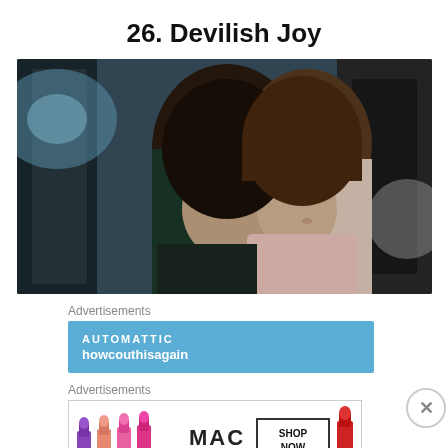26. Devilish Joy
[Figure (photo): Two people in an intimate scene; one person with dark hair leaning their head against another person with a brown bob haircut who is smiling slightly, shot in a cinematic style with blue and dark tones in the background.]
Advertisements
[Figure (screenshot): Blue advertisement banner showing AUTOMATTIC logo and partial text below]
Advertisements
[Figure (photo): MAC cosmetics advertisement showing colorful lipsticks and SHOP NOW button]